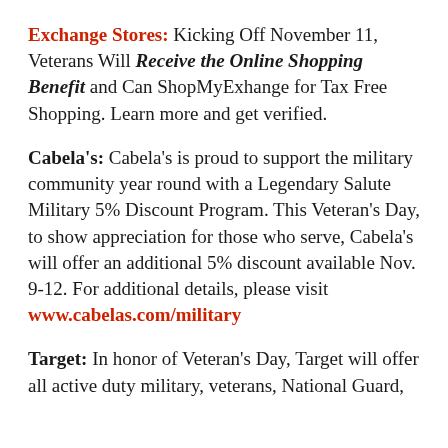Exchange Stores: Kicking Off November 11, Veterans Will Receive the Online Shopping Benefit and Can ShopMyExhange for Tax Free Shopping. Learn more and get verified.
Cabela's: Cabela's is proud to support the military community year round with a Legendary Salute Military 5% Discount Program. This Veteran's Day, to show appreciation for those who serve, Cabela's will offer an additional 5% discount available Nov. 9-12. For additional details, please visit www.cabelas.com/military
Target: In honor of Veteran's Day, Target will offer all active duty military, veterans, National Guard,